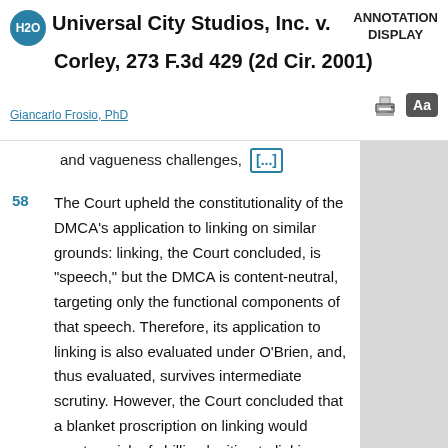Universal City Studios, Inc. v. Corley, 273 F.3d 429 (2d Cir. 2001)
Giancarlo Frosio, PhD
ANNOTATION DISPLAY
and vagueness challenges, [...]
58  The Court upheld the constitutionality of the DMCA's application to linking on similar grounds: linking, the Court concluded, is "speech," but the DMCA is content-neutral, targeting only the functional components of that speech. Therefore, its application to linking is also evaluated under O'Brien, and, thus evaluated, survives intermediate scrutiny. However, the Court concluded that a blanket proscription on linking would create a risk of chilling legitimate linking on the web. The Court therefore...